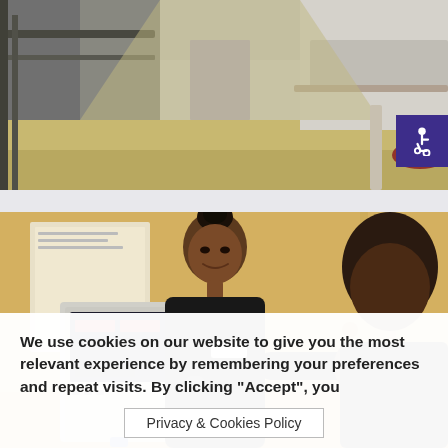[Figure (photo): Hospital corridor with dark railings, beige/cream floors, and light-colored walls visible in the background.]
[Figure (photo): A healthcare worker in black uniform with a name badge smiling at a patient while operating a medical monitoring device. The patient is seated and the worker has a hand on the patient's shoulder.]
We use cookies on our website to give you the most relevant experience by remembering your preferences and repeat visits. By clicking “Accept”, you
Privacy & Cookies Policy